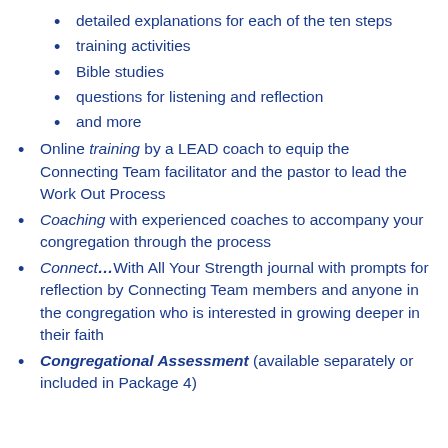detailed explanations for each of the ten steps
training activities
Bible studies
questions for listening and reflection
and more
Online training by a LEAD coach to equip the Connecting Team facilitator and the pastor to lead the Work Out Process
Coaching with experienced coaches to accompany your congregation through the process
Connect...With All Your Strength journal with prompts for reflection by Connecting Team members and anyone in the congregation who is interested in growing deeper in their faith
Congregational Assessment (available separately or included in Package 4)